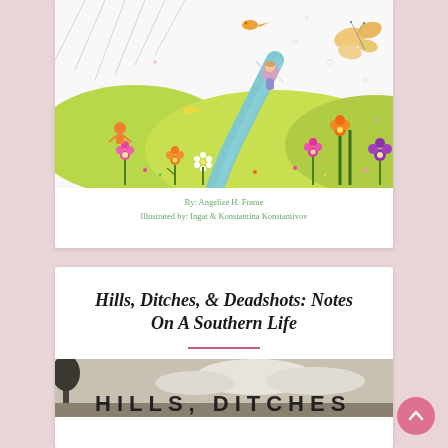[Figure (illustration): Colorful watercolor-style illustration of a whimsical garden scene with flowers, butterflies, birds, and a fairy-like figure along a winding path]
By: Angelize H. Frame
Illustrated by: Ingat & Konstantina Konstantivov
Hills, Ditches, & Deadshots: Notes On A Southern Life
[Figure (photo): Book cover photo showing text 'HILLS, DITCHES' in large letters against a sky background]